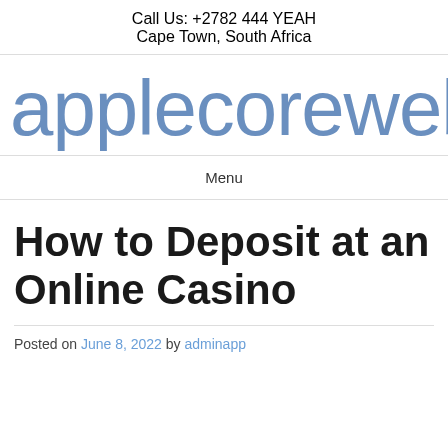Call Us: +2782 444 YEAH
Cape Town, South Africa
applecoreweb.c
Menu
How to Deposit at an Online Casino
Posted on June 8, 2022 by adminapp